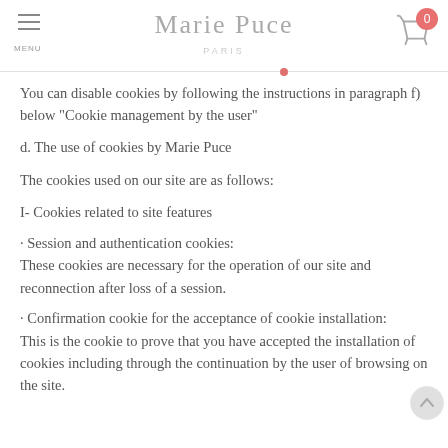Marie Puce PARIS — MENU
You can disable cookies by following the instructions in paragraph f) below “Cookie management by the user”
d. The use of cookies by Marie Puce
The cookies used on our site are as follows:
I- Cookies related to site features
· Session and authentication cookies:
These cookies are necessary for the operation of our site and reconnection after loss of a session.
· Confirmation cookie for the acceptance of cookie installation:
This is the cookie to prove that you have accepted the installation of cookies including through the continuation by the user of browsing on the site.